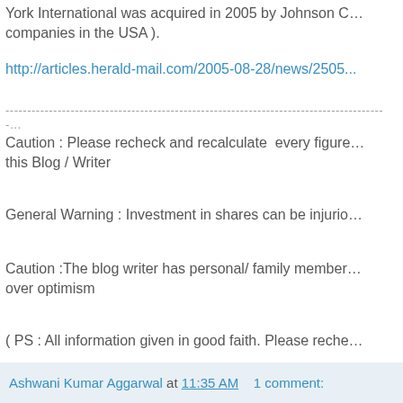York International was acquired in 2005 by Johnson C… companies in the USA ).
http://articles.herald-mail.com/2005-08-28/news/25051…
------------------------------------------------------------…
Caution : Please recheck and recalculate every figure… this Blog / Writer
General Warning : Investment in shares can be injurio…
Caution :The blog writer has personal/ family member… over optimism
( PS : All information given in good faith. Please reche…
Ashwani Kumar Aggarwal at 11:35 AM    1 comment: